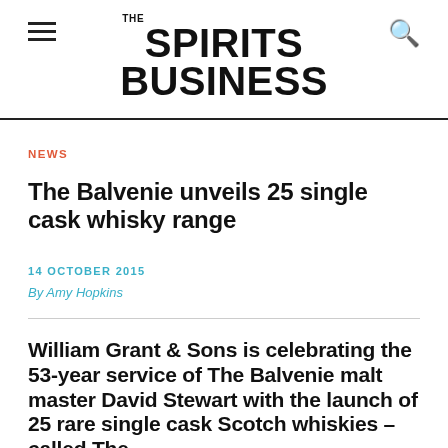THE SPIRITS BUSINESS
NEWS
The Balvenie unveils 25 single cask whisky range
14 OCTOBER 2015
By Amy Hopkins
William Grant & Sons is celebrating the 53-year service of The Balvenie malt master David Stewart with the launch of 25 rare single cask Scotch whiskies – called The Balvenie DCS Compendium –